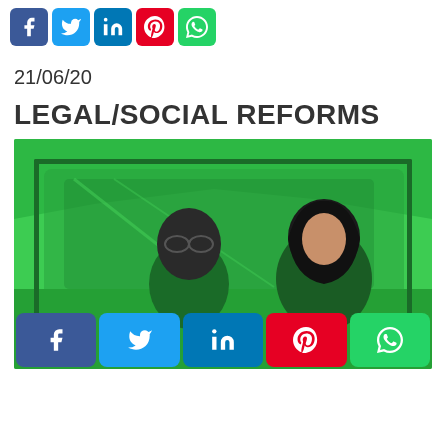[Figure (other): Social media share buttons row: Facebook, Twitter, LinkedIn, Pinterest, WhatsApp]
21/06/20
LEGAL/SOCIAL REFORMS
[Figure (photo): Green-tinted photo of two women sitting in a car, one wearing glasses and one wearing a hijab, viewed through the open car window. Social media share buttons (Facebook, Twitter, LinkedIn, Pinterest, WhatsApp) overlaid at the bottom.]